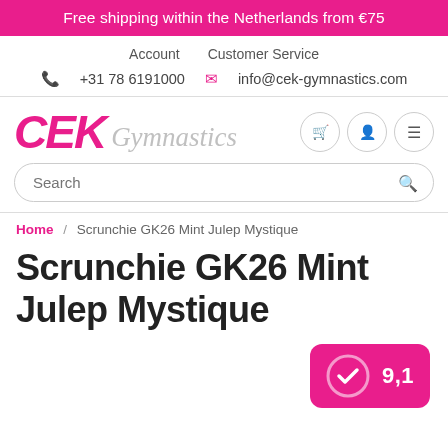Free shipping within the Netherlands from €75
Account   Customer Service
📞 +31 78 6191000  ✉ info@cek-gymnastics.com
[Figure (logo): CEK Gymnastics logo with pink CEK text and gray italic Gymnastics script, with cart, user, and menu icon buttons]
Search
Home / Scrunchie GK26 Mint Julep Mystique
Scrunchie GK26 Mint Julep Mystique
[Figure (infographic): Pink rating badge showing checkmark circle icon and score 9,1]